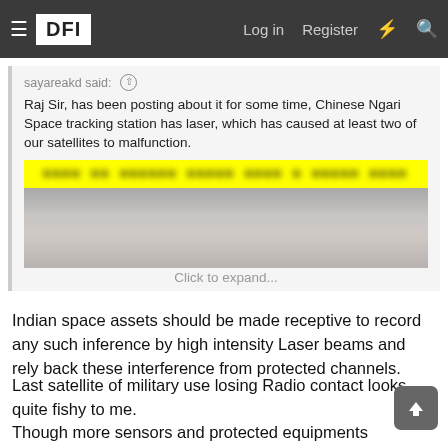DFI — Log in  Register
sayareakd said: ↑
Raj Sir, has been posting about it for some time, Chinese Ngari Space tracking station has laser, which has caused at least two of our satellites to malfunction.
[Figure (photo): Redacted/blurred image with yellow highlighted bar at top containing obscured text]
Click to expand...
Indian space assets should be made receptive to record any such inference by high intensity Laser beams and rely back these interference from protected channels.
Last satellite of military use losing Radio contact looks quite fishy to me.
Though more sensors and protected equipments means more weight therefore its is imperative to increase our lift capabilities.